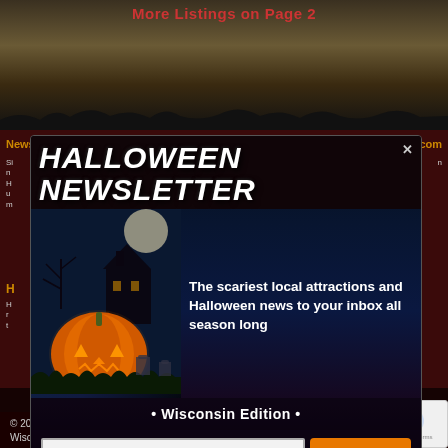More Listings on Page 2
Newsletter
About WisconsinHauntedHouses.com
[Figure (screenshot): Halloween Newsletter popup modal with jack-o-lantern pumpkin image, title 'HALLOWEEN NEWSLETTER', description text 'The scariest local attractions and Halloween news to your inbox all season long', '• Wisconsin Edition •', email input field and Join button]
Haunt Fans: Log In • Sign Up
© 2009-2022 WisconsinHauntedHouses.com. All rights reserved. Wisconsin's Halloween Entertainment Guide™